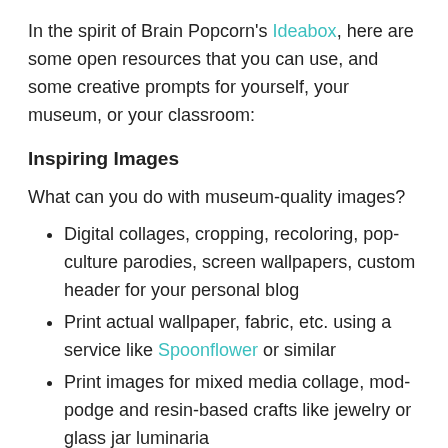In the spirit of Brain Popcorn's Ideabox, here are some open resources that you can use, and some creative prompts for yourself, your museum, or your classroom:
Inspiring Images
What can you do with museum-quality images?
Digital collages, cropping, recoloring, pop-culture parodies, screen wallpapers, custom header for your personal blog
Print actual wallpaper, fabric, etc. using a service like Spoonflower or similar
Print images for mixed media collage, mod-podge and resin-based crafts like jewelry or glass jar luminaria
Costume, set, and character design inspiration